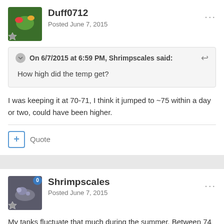Duff0712
Posted June 7, 2015
On 6/7/2015 at 6:59 PM, Shrimpscales said:
How high did the temp get?
I was keeping it at 70-71, I think it jumped to ~75 within a day or two, could have been higher.
Quote
Shrimpscales
Posted June 7, 2015
My tanks fluctuate that much during the summer. Between 74 - 78